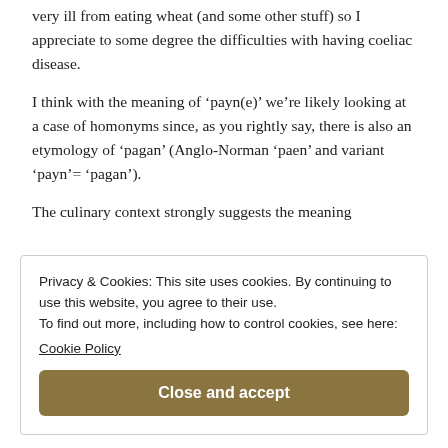very ill from eating wheat (and some other stuff) so I appreciate to some degree the difficulties with having coeliac disease.
I think with the meaning of ‘payn(e)’ we’re likely looking at a case of homonyms since, as you rightly say, there is also an etymology of ‘pagan’ (Anglo-Norman ‘paen’ and variant ‘payn’= ‘pagan’).
The culinary context strongly suggests the meaning
Privacy & Cookies: This site uses cookies. By continuing to use this website, you agree to their use.
To find out more, including how to control cookies, see here: Cookie Policy
Close and accept